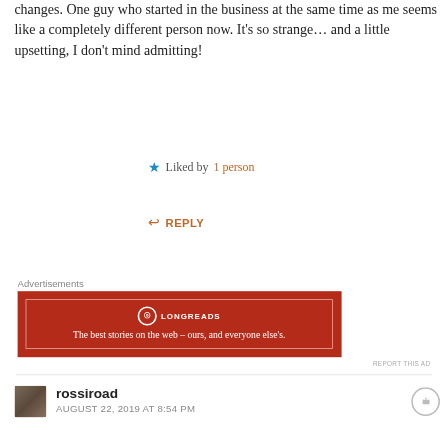changes. One guy who started in the business at the same time as me seems like a completely different person now. It's so strange… and a little upsetting, I don't mind admitting!
★ Liked by 1 person
↩ REPLY
Advertisements
[Figure (advertisement): Longreads ad: red background with white border, logo circle with L, text 'The best stories on the web – ours, and everyone else's.']
REPORT THIS AD
rossiroad
AUGUST 22, 2019 AT 8:54 PM
Advertisements
[Figure (advertisement): Dark banner ad: 'Launch your online course with WordPress' with Learn More button]